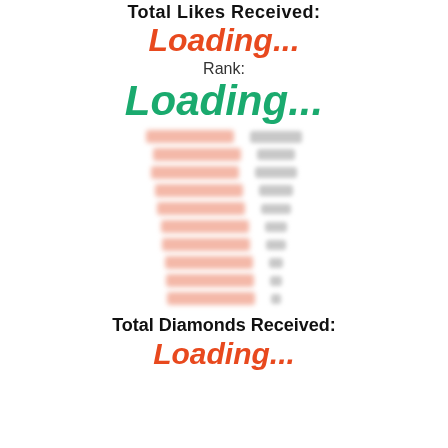Total Likes Received:
Loading...
Rank:
Loading...
[Figure (other): Blurred leaderboard list with redacted names and scores, 10 rows]
Total Diamonds Received:
Loading...